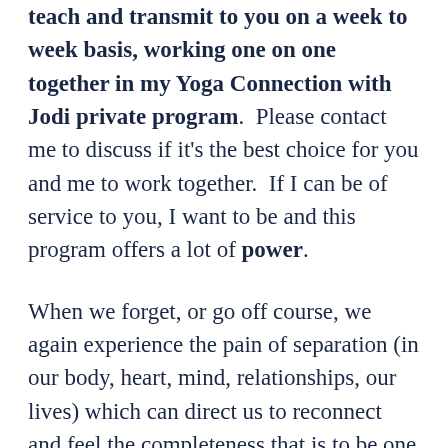teach and transmit to you on a week to week basis, working one on one together in my Yoga Connection with Jodi private program.  Please contact me to discuss if it's the best choice for you and me to work together.  If I can be of service to you, I want to be and this program offers a lot of power.
When we forget, or go off course, we again experience the pain of separation (in our body, heart, mind, relationships, our lives) which can direct us to reconnect and feel the completeness that is to be one with God's love, the